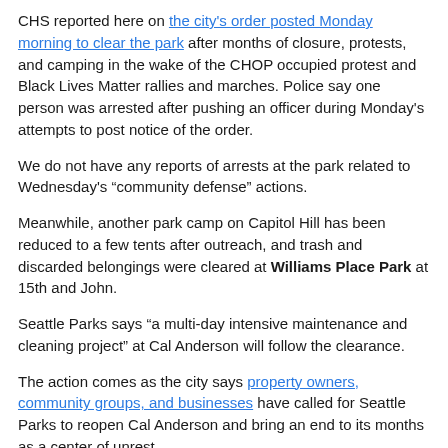CHS reported here on the city's order posted Monday morning to clear the park after months of closure, protests, and camping in the wake of the CHOP occupied protest and Black Lives Matter rallies and marches. Police say one person was arrested after pushing an officer during Monday's attempts to post notice of the order.
We do not have any reports of arrests at the park related to Wednesday's “community defense” actions.
Meanwhile, another park camp on Capitol Hill has been reduced to a few tents after outreach, and trash and discarded belongings were cleared at Williams Place Park at 15th and John.
Seattle Parks says “a multi-day intensive maintenance and cleaning project” at Cal Anderson will follow the clearance.
The action comes as the city says property owners, community groups, and businesses have called for Seattle Parks to reopen Cal Anderson and bring an end to its months as a center of unrest.
Activists and organizers, meanwhile, point to CDC guidelines against sweeps during the COVID-19 crisis and the city’s lack of adequate shelter space. Others say sweeping in the middle of winter only days before Christmas is especially cruel.